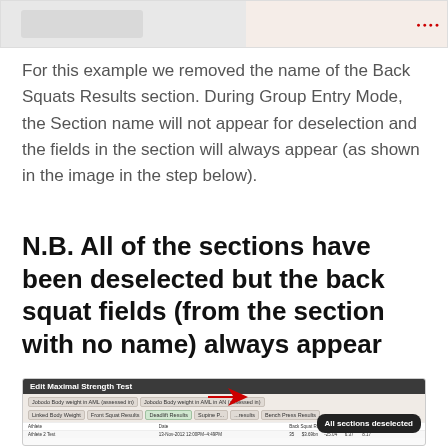[Figure (screenshot): Top portion of a software interface screenshot showing a form or table with light gray and pinkish background sections]
For this example we removed the name of the Back Squats Results section. During Group Entry Mode, the Section name will not appear for deselection and the fields in the section will always appear (as shown in the image in the step below).
N.B. All of the sections have been deselected but the back squat fields (from the section with no name) always appear
[Figure (screenshot): Screenshot of 'Edit Maximal Strength Test' interface showing section tags including Linked Body Weight, Front Squat Results, Deadlift Results, Supine, and Bench Press Results. A black callout bubble reads 'All sections deselected' with a red arrow pointing to the tags area. A data table row is partially visible at the bottom.]